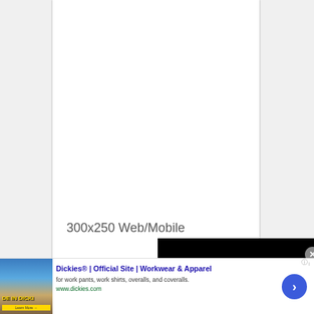[Figure (screenshot): A white page document area shown against a gray background, representing a 300x250 Web/Mobile ad placeholder. Below the white page area is an advertisement banner for Dickies workwear.]
300x250 Web/Mobile
[Figure (screenshot): Black video/media player bar appearing at the bottom right of the white page area with a close X button]
[Figure (screenshot): Advertisement banner for Dickies Official Site - Workwear & Apparel. Shows Dickies product image on left, ad text in center reading 'Dickies® | Official Site | Workwear & Apparel / for work pants, work shirts, overalls, and coveralls. / www.dickies.com', and a blue circle arrow button on right. Small ad label icon in top right corner.]